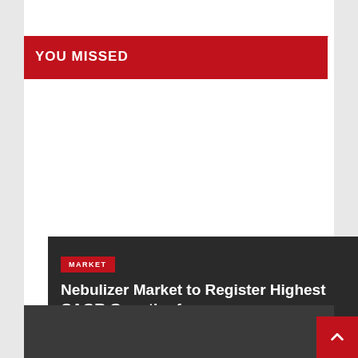YOU MISSED
Nebulizer Market to Register Highest CAGR Growth of
AUG 19, 2022   DATA BRIDGE MARKET RESEARCH